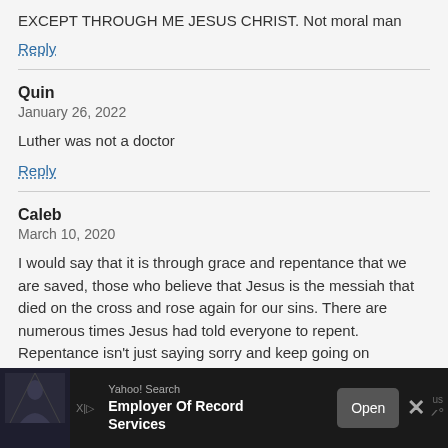EXCEPT THROUGH ME JESUS CHRIST. Not moral man
Reply
Quin
January 26, 2022
Luther was not a doctor
Reply
Caleb
March 10, 2020
I would say that it is through grace and repentance that we are saved, those who believe that Jesus is the messiah that died on the cross and rose again for our sins. There are numerous times Jesus had told everyone to repent. Repentance isn't just saying sorry and keep going on
[Figure (screenshot): Advertisement bar at bottom: Yahoo! Search ad for 'Employer Of Record Services' with Open button and close X button on dark background]